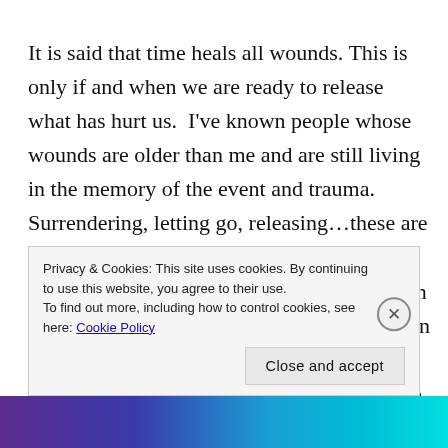It is said that time heals all wounds. This is only if and when we are ready to release what has hurt us.  I've known people whose wounds are older than me and are still living in the memory of the event and trauma.  Surrendering, letting go, releasing…these are all beautiful words of wisdom.  They sound simple.  It's like telling a person who lives on adrenaline to stop and relax.  How?  How can one start to let go? How do we release the illusion of fear? Not everything that needs to
Privacy & Cookies: This site uses cookies. By continuing to use this website, you agree to their use.
To find out more, including how to control cookies, see here: Cookie Policy
Close and accept